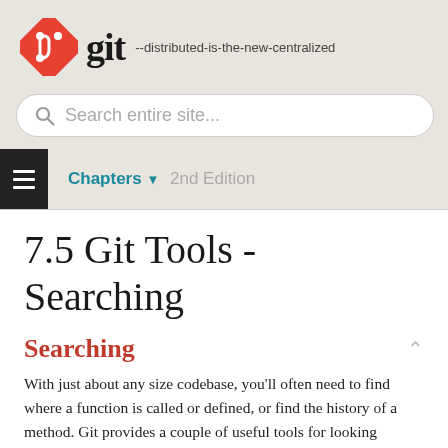[Figure (logo): Git logo: orange diamond with white git branch icon, followed by bold 'git' wordmark in dark, and tagline '--distributed-is-the-new-centralized']
Search entire site...
Chapters ▼  2nd Edition
7.5 Git Tools - Searching
Searching
With just about any size codebase, you'll often need to find where a function is called or defined, or find the history of a method. Git provides a couple of useful tools for looking through the code and commits stored in it's database quickly and easily. We'll go through a few of them.